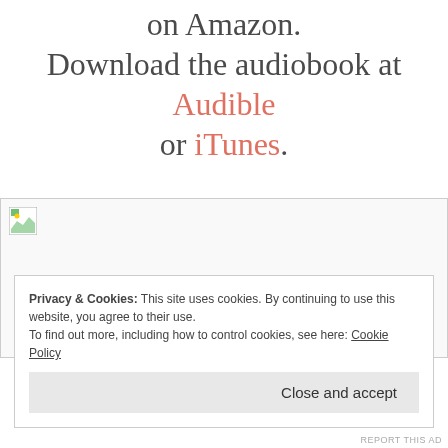on Amazon. Download the audiobook at Audible or iTunes.
[Figure (other): Broken image placeholder with small icon in top-left corner]
Privacy & Cookies: This site uses cookies. By continuing to use this website, you agree to their use. To find out more, including how to control cookies, see here: Cookie Policy
Close and accept
REPORT THIS AD